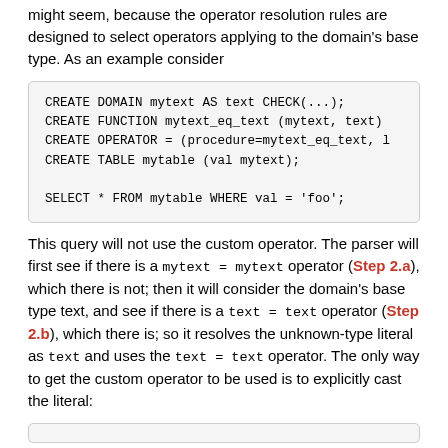might seem, because the operator resolution rules are designed to select operators applying to the domain's base type. As an example consider
CREATE DOMAIN mytext AS text CHECK(...);
CREATE FUNCTION mytext_eq_text (mytext, text)
CREATE OPERATOR = (procedure=mytext_eq_text, l
CREATE TABLE mytable (val mytext);

SELECT * FROM mytable WHERE val = 'foo';
This query will not use the custom operator. The parser will first see if there is a mytext = mytext operator (Step 2.a), which there is not; then it will consider the domain's base type text, and see if there is a text = text operator (Step 2.b), which there is; so it resolves the unknown-type literal as text and uses the text = text operator. The only way to get the custom operator to be used is to explicitly cast the literal:
(code box cut off at bottom)